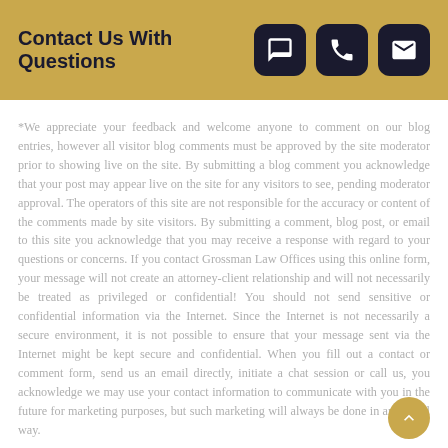Contact Us With Questions
*We appreciate your feedback and welcome anyone to comment on our blog entries, however all visitor blog comments must be approved by the site moderator prior to showing live on the site. By submitting a blog comment you acknowledge that your post may appear live on the site for any visitors to see, pending moderator approval. The operators of this site are not responsible for the accuracy or content of the comments made by site visitors. By submitting a comment, blog post, or email to this site you acknowledge that you may receive a response with regard to your questions or concerns. If you contact Grossman Law Offices using this online form, your message will not create an attorney-client relationship and will not necessarily be treated as privileged or confidential! You should not send sensitive or confidential information via the Internet. Since the Internet is not necessarily a secure environment, it is not possible to ensure that your message sent via the Internet might be kept secure and confidential. When you fill out a contact or comment form, send us an email directly, initiate a chat session or call us, you acknowledge we may use your contact information to communicate with you in the future for marketing purposes, but such marketing will always be done in an ethical way.